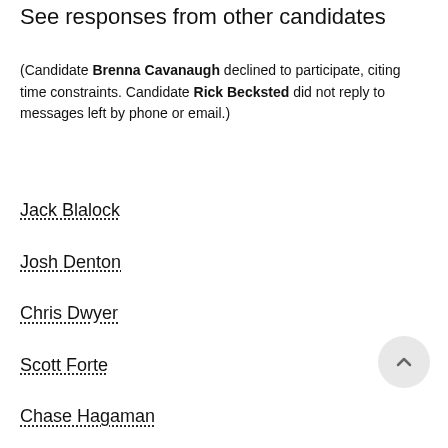See responses from other candidates
(Candidate Brenna Cavanaugh declined to participate, citing time constraints. Candidate Rick Becksted did not reply to messages left by phone or email.)
Jack Blalock
Josh Denton
Chris Dwyer
Scott Forte
Chase Hagaman
Brian Kelly
Rebecca Perkins Kwoka